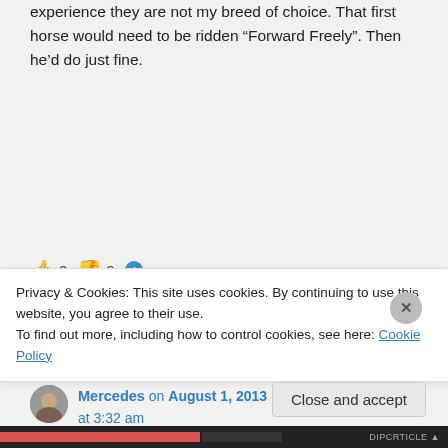experience they are not my breed of choice. That first horse would need to be ridden “Forward Freely”. Then he’d do just fine.
👍 2 👎 0 ℹ️
↪ Reply
Mercedes on August 1, 2013 at 3:32 am
Privacy & Cookies: This site uses cookies. By continuing to use this website, you agree to their use.
To find out more, including how to control cookies, see here: Cookie Policy
Close and accept